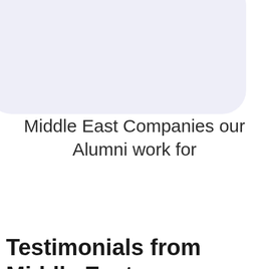[Figure (illustration): Light blue/lavender rounded rectangle shape in the upper portion of the page, partially cut off at the top]
Middle East Companies our Alumni work for
Testimonials from Middle East